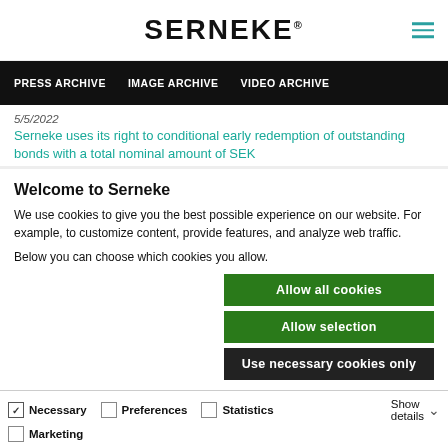SERNEKE
PRESS ARCHIVE  IMAGE ARCHIVE  VIDEO ARCHIVE
5/5/2022
Serneke uses its right to conditional early redemption of outstanding bonds with a total nominal amount of SEK
Welcome to Serneke
We use cookies to give you the best possible experience on our website. For example, to customize content, provide features, and analyze web traffic.
Below you can choose which cookies you allow.
Allow all cookies
Allow selection
Use necessary cookies only
Necessary  Preferences  Statistics  Marketing  Show details